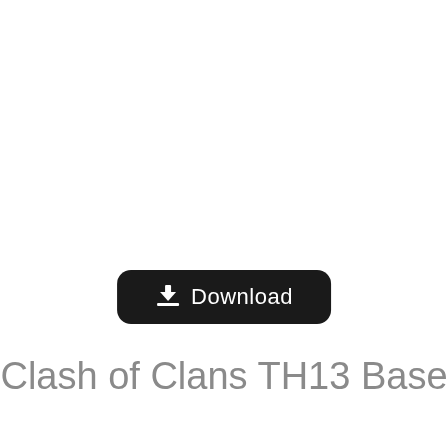[Figure (other): Download button: black rounded rectangle with download icon and text 'Download']
Clash of Clans TH13 Base